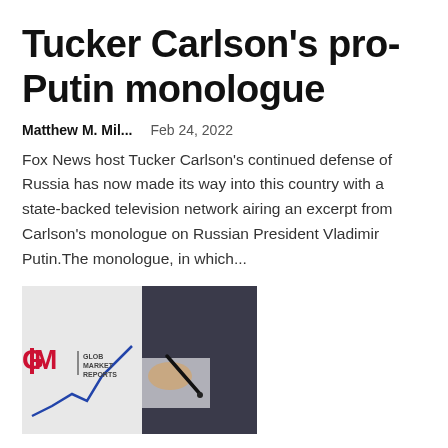Tucker Carlson’s pro-Putin monologue
Matthew M. Mil...   Feb 24, 2022
Fox News host Tucker Carlson's continued defense of Russia has now made its way into this country with a state-backed television network airing an excerpt from Carlson's monologue on Russian President Vladimir Putin.The monologue, in which...
[Figure (photo): Photo of a person in a dark suit holding a pen over a line chart. GMR Glob Market Reports logo visible at left.]
Cable Television Network Market 2022 Global Industry